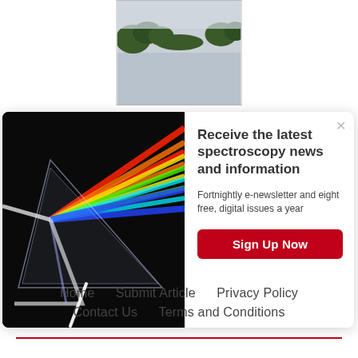[Figure (photo): Partial view of a lake with trees and overcast sky, photo positioned at top center of page]
[Figure (photo): A glass prism dispersing white light into a rainbow spectrum against a black background]
Receive the latest spectroscopy news and information
Fortnightly e-newsletter and eight free, digital issues a year
Sign Up Now
Home   Submit Article   Privacy Policy   Contact Us   Terms and Conditions